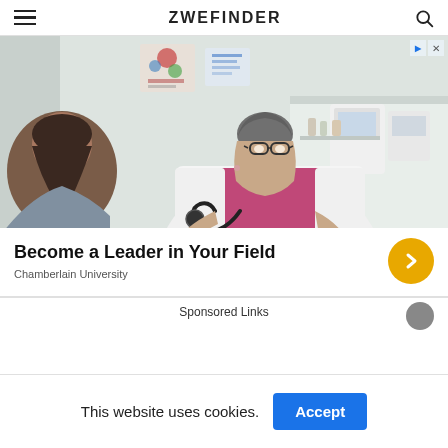ZWEFINDER
[Figure (photo): Female doctor in white coat with stethoscope speaking to a patient in a medical office]
Become a Leader in Your Field
Chamberlain University
Sponsored Links
This website uses cookies.
Accept